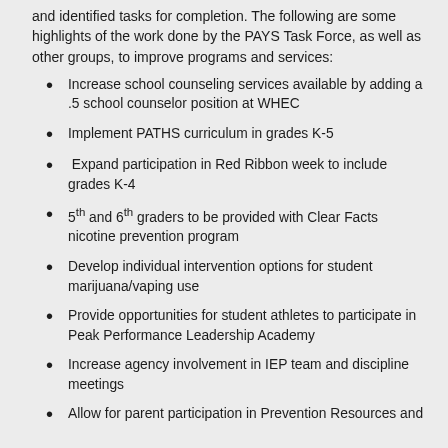and identified tasks for completion. The following are some highlights of the work done by the PAYS Task Force, as well as other groups, to improve programs and services:
Increase school counseling services available by adding a .5 school counselor position at WHEC
Implement PATHS curriculum in grades K-5
Expand participation in Red Ribbon week to include grades K-4
5th and 6th graders to be provided with Clear Facts nicotine prevention program
Develop individual intervention options for student marijuana/vaping use
Provide opportunities for student athletes to participate in Peak Performance Leadership Academy
Increase agency involvement in IEP team and discipline meetings
Allow for parent participation in Prevention Resources and